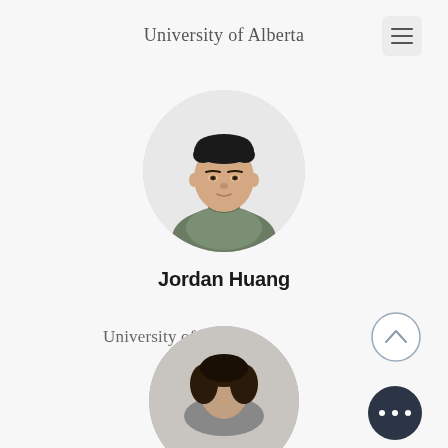University of Alberta
[Figure (photo): Circular profile photo of Jordan Huang, a young man wearing a green polo shirt against a white background]
Jordan Huang
University of Calgary
[Figure (illustration): Circular chevron-up button with navy outline]
[Figure (illustration): Dark navy circular button with three white dots (more options)]
[Figure (photo): Partial circular profile photo at bottom of page, person with dark hair]